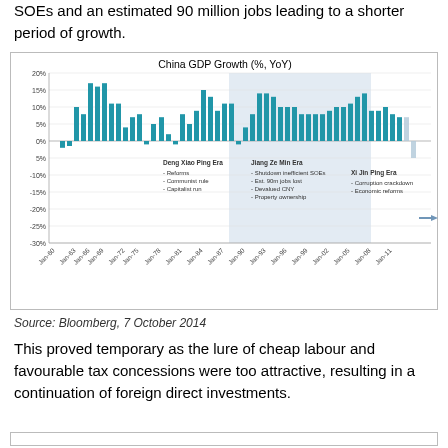SOEs and an estimated 90 million jobs leading to a shorter period of growth.
[Figure (bar-chart): Bar chart showing China GDP Growth YoY from 1960 to ~2014, with annotated eras: Deng Xiao Ping Era (Reforms, Communist rule, Capitalist run), Jiang Ze Min Era (Shutdown inefficient SOEs, Est. 90m jobs lost, Devalued CNY, Property ownership), Xi Jin Ping Era (Corruption crackdown, Economic reforms).]
Source: Bloomberg, 7 October 2014
This proved temporary as the lure of cheap labour and favourable tax concessions were too attractive, resulting in a continuation of foreign direct investments.